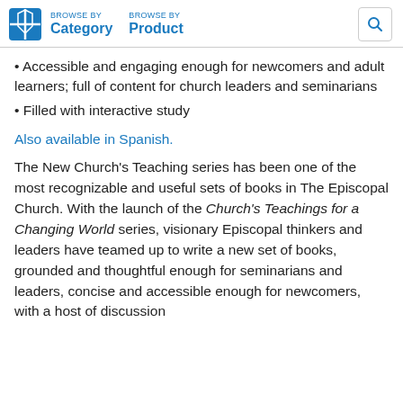BROWSE BY Category   BROWSE BY Product
Accessible and engaging enough for newcomers and adult learners; full of content for church leaders and seminarians
Filled with interactive study
Also available in Spanish.
The New Church's Teaching series has been one of the most recognizable and useful sets of books in The Episcopal Church. With the launch of the Church's Teachings for a Changing World series, visionary Episcopal thinkers and leaders have teamed up to write a new set of books, grounded and thoughtful enough for seminarians and leaders, concise and accessible enough for newcomers, with a host of discussion